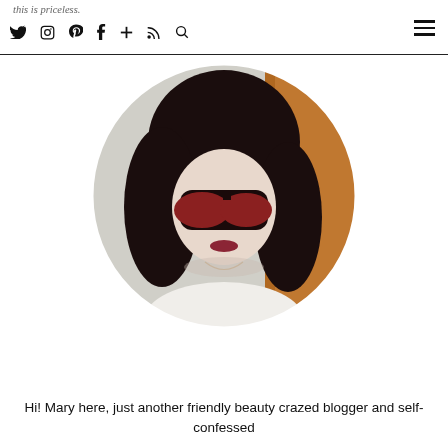this is priceless.
[Figure (photo): Circular profile photo of a woman with dark bob haircut and large dark sunglasses with reddish-brown lenses, wearing a white top with a delicate necklace, posed in front of a wooden background]
Hi! Mary here, just another friendly beauty crazed blogger and self-confessed